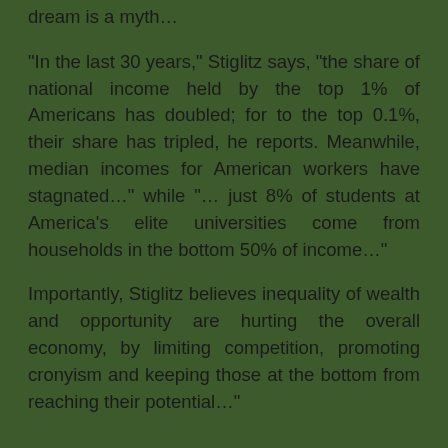dream is a myth…
“In the last 30 years,” Stiglitz says, “the share of national income held by the top 1% of Americans has doubled; for to the top 0.1%, their share has tripled, he reports. Meanwhile, median incomes for American workers have stagnated…” while “… just 8% of students at America’s elite universities come from households in the bottom 50% of income…”
Importantly, Stiglitz believes inequality of wealth and opportunity are hurting the overall economy, by limiting competition, promoting cronyism and keeping those at the bottom from reaching their potential…”